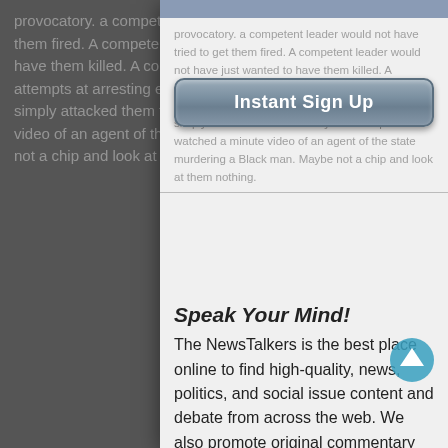[Figure (screenshot): Modal overlay on a web page showing a signup prompt for NewsTalkers website. Background shows dimmed article text. Modal contains an 'Instant Sign Up' button, a 'Speak Your Mind!' heading, and descriptive text about NewsTalkers platform.]
Instant Sign Up
Speak Your Mind!
The NewsTalkers is the best place online to find high-quality, news, politics, and social issue content and debate from across the web. We also promote original commentary for in-depth discussions. The NewsTalkers provides this within a community setting, that is fully moderated and member-centric. What makes us unique is that the membership has a voice in all aspects of NewsTalkers. Come join and "Speak your mind".